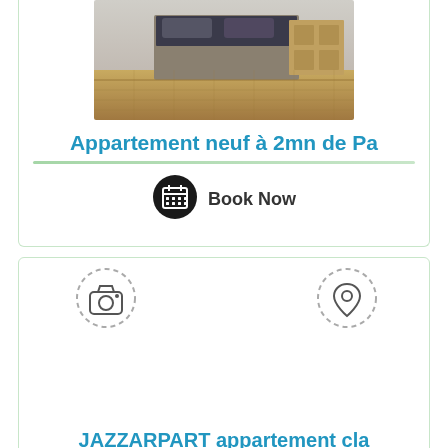[Figure (photo): Bedroom photo showing wooden floor, bed with dark bedding, and wooden furniture/dresser]
Appartement neuf à 2mn de Pa
[Figure (illustration): Calendar/book now icon - black circle with white calendar grid icon]
Book Now
[Figure (illustration): Camera icon in dashed circle outline]
[Figure (illustration): Location pin icon in dashed circle outline]
JAZZARPART appartement cla